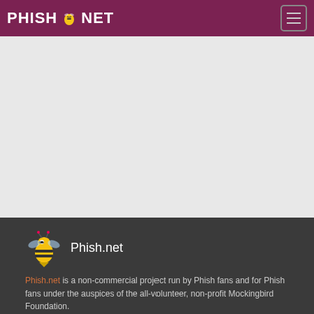PHISH.NET
[Figure (other): Light gray advertisement/content placeholder area]
[Figure (logo): Phish.net footer logo with bee mascot and site name Phish.net]
Phish.net is a non-commercial project run by Phish fans and for Phish fans under the auspices of the all-volunteer, non-profit Mockingbird Foundation.